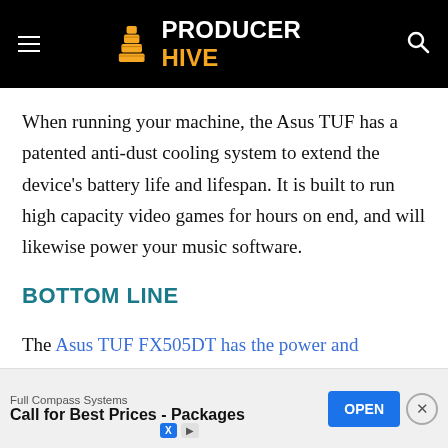PRODUCER HIVE
When running your machine, the Asus TUF has a patented anti-dust cooling system to extend the device's battery life and lifespan. It is built to run high capacity video games for hours on end, and will likewise power your music software.
BOTTOM LINE
The Asus TUF FX505DT has the power and components to run your digital music studio. For producers, the display... value,...
[Figure (other): Advertisement banner: Full Compass Systems - Call for Best Prices - Packages with OPEN button]